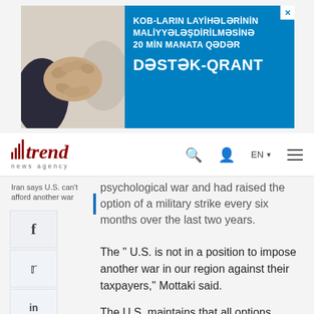[Figure (photo): Advertisement banner: KOB-LARIN LAYIHƏLƏRİNİN MALİYYƏLƏŞDİRİLMƏSİNƏ 20 MİN MANATA QƏDƏR DƏSTƏK-QRANT with handshake photo]
trend news agency | EN
psychological war and had raised the option of a military strike every six months over the last two years.
Iran says U.S. can't afford another war
The " U.S. is not in a position to impose another war in our region against their taxpayers," Mottaki said.
The U.S. maintains that all options including a military attack remain on the table.
But Mottaki said Iran warned the United